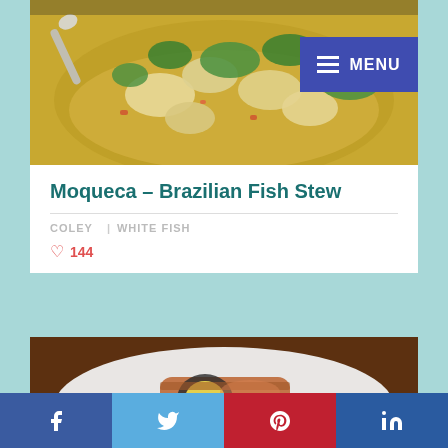[Figure (photo): Close-up photo of Moqueca Brazilian Fish Stew in a bowl with shrimp, fish pieces, green herbs (cilantro) in a yellow-green coconut broth, with a spoon visible]
Moqueca - Brazilian Fish Stew
COLEY | WHITE FISH
♡ 144
[Figure (photo): Photo of a meat dish on a white plate with green pea puree, appears to be pork belly or wrapped meat with egg, sliced to show cross-section]
f
t (Twitter bird)
P (Pinterest)
in